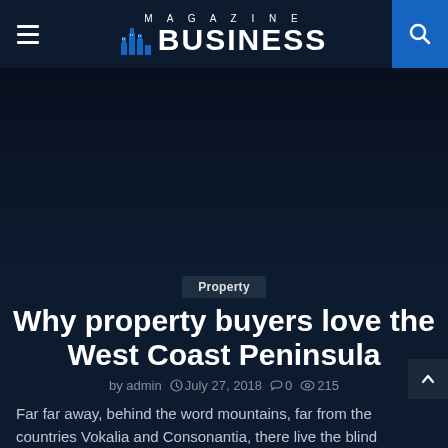MAGAZINE BUSINESS
[Figure (illustration): Dark navy hero image area for article]
Property
Why property buyers love the West Coast Peninsula
by admin  July 27, 2018  0  215
Far far away, behind the word mountains, far from the countries Vokalia and Consonantia, there live the blind